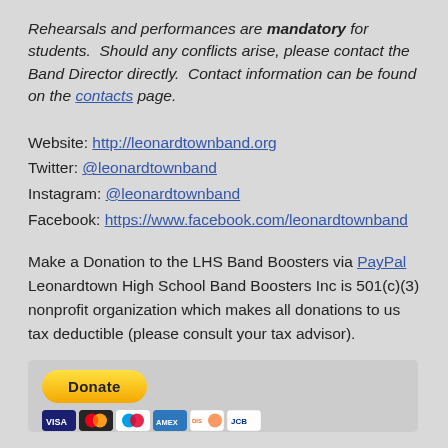Rehearsals and performances are mandatory for students.  Should any conflicts arise, please contact the Band Director directly.  Contact information can be found on the contacts page.
Website: http://leonardtownband.org
Twitter: @leonardtownband
Instagram: @leonardtownband
Facebook: https://www.facebook.com/leonardtownband
Make a Donation to the LHS Band Boosters via PayPal Leonardtown High School Band Boosters Inc is 501(c)(3) nonprofit organization which makes all donations to us tax deductible (please consult your tax advisor).
[Figure (screenshot): PayPal Donate button widget with yellow 'Donate' button and credit card logos below (Visa, Mastercard, Maestro, AmEx, Discover, etc.)]